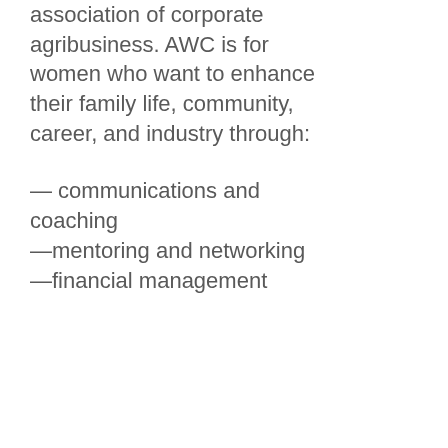association of corporate agribusiness. AWC is for women who want to enhance their family life, community, career, and industry through:
— communications and coaching
—mentoring and networking
—financial management
that pull you thr...
https://t.co/B6L
5 days ago via
View our Privacy Policy